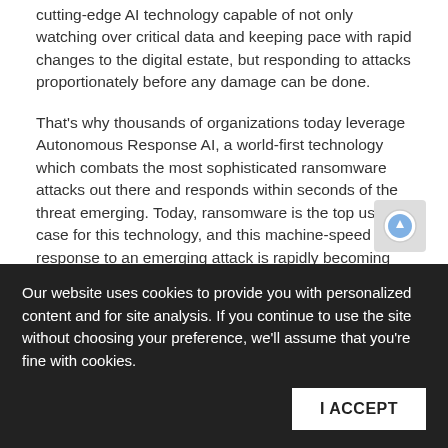cutting-edge AI technology capable of not only watching over critical data and keeping pace with rapid changes to the digital estate, but responding to attacks proportionately before any damage can be done.
That's why thousands of organizations today leverage Autonomous Response AI, a world-first technology which combats the most sophisticated ransomware attacks out there and responds within seconds of the threat emerging. Today, ransomware is the top use case for this technology, and this machine-speed response to an emerging attack is rapidly becoming the de facto way to avoid ransomware attacks.
What is your opinion on paying ransomware demands? Are there 'bigger picture' questions to ask when we think about our responses to ransomware attacks?
Our website uses cookies to provide you with personalized content and for site analysis. If you continue to use the site without choosing your preference, we'll assume that you're fine with cookies.